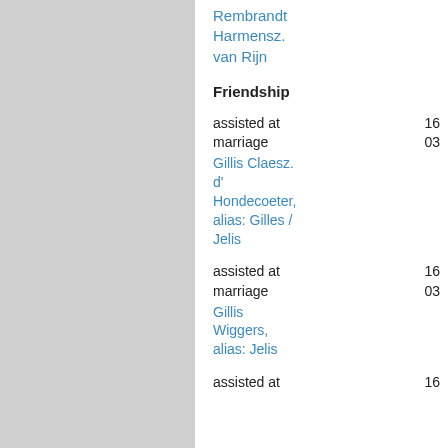Rembrandt Harmensz. van Rijn
Friendship
assisted at marriage
Gillis Claesz. d' Hondecoeter, alias: Gilles / Jelis
assisted at marriage
Gillis Wiggers, alias: Jelis
assisted at